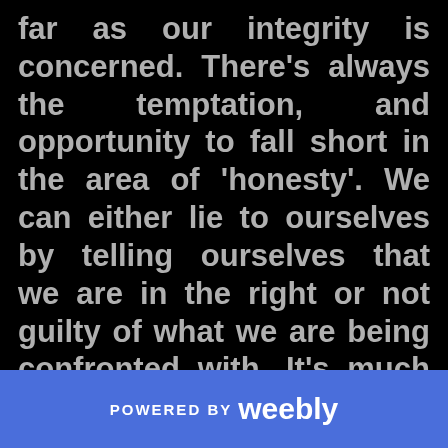far as our integrity is concerned. There's always the temptation, and opportunity to fall short in the area of 'honesty'. We can either lie to ourselves by telling ourselves that we are in the right or not guilty of what we are being confronted with. It's much easier to do that than to take a cold hard look at whatever it is and face it.
POWERED BY weebly